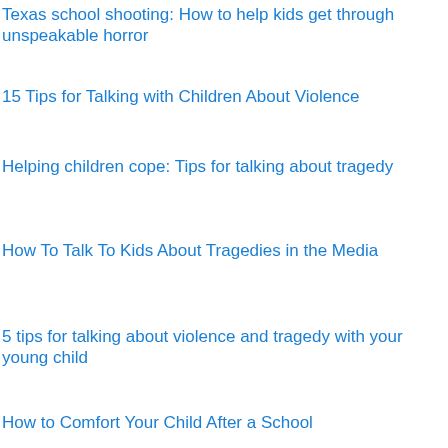Texas school shooting: How to help kids get through unspeakable horror
15 Tips for Talking with Children About Violence
Helping children cope: Tips for talking about tragedy
How To Talk To Kids About Tragedies in the Media
5 tips for talking about violence and tragedy with your young child
How to Comfort Your Child After a School